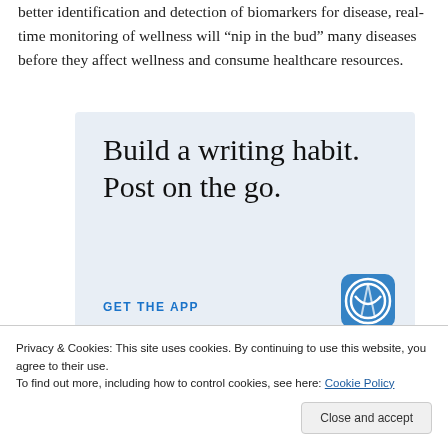better identification and detection of biomarkers for disease, real-time monitoring of wellness will “nip in the bud” many diseases before they affect wellness and consume healthcare resources.
[Figure (illustration): WordPress app advertisement showing 'Build a writing habit. Post on the go.' with 'GET THE APP' call to action and WordPress logo on a light blue background.]
Privacy & Cookies: This site uses cookies. By continuing to use this website, you agree to their use. To find out more, including how to control cookies, see here: Cookie Policy
Close and accept